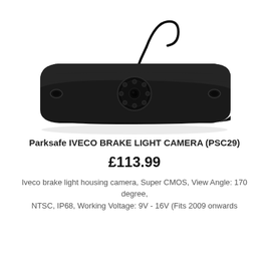[Figure (photo): Photo of Parksafe IVECO BRAKE LIGHT CAMERA (PSC29) — a flat black elongated brake light housing camera unit with a cable and connector on the left side, and a circular camera lens with IR LEDs in the center, viewed from above against a white background.]
Parksafe IVECO BRAKE LIGHT CAMERA (PSC29)
£113.99
Iveco brake light housing camera, Super CMOS, View Angle: 170 degree, NTSC, IP68, Working Voltage: 9V - 16V (Fits 2009 onwards